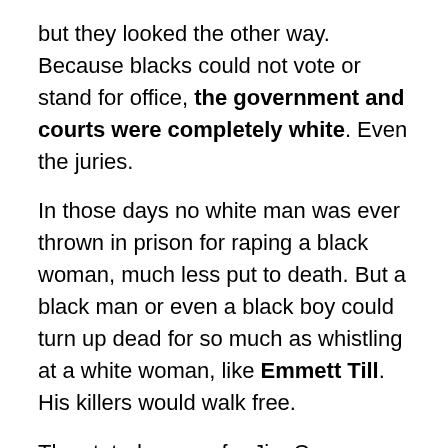but they looked the other way. Because blacks could not vote or stand for office, the government and courts were completely white. Even the juries.
In those days no white man was ever thrown in prison for raping a black woman, much less put to death. But a black man or even a black boy could turn up dead for so much as whistling at a white woman, like Emmett Till. His killers would walk free.
The stated reason for Jim Crow was to keep the white race pure. If blacks were equal to whites, then the races would mix. The South, which is mainly white, would become mainly brown. The white race would be destroyed.
Jim Crow laws even had the backing of the highest court in the land. In 1896 the Supreme Court said that it...